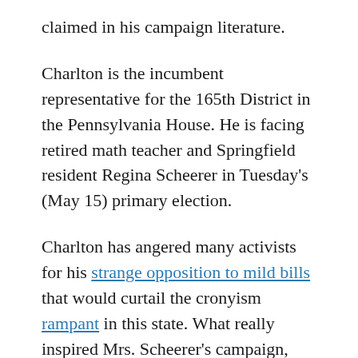claimed in his campaign literature.
Charlton is the incumbent representative for the 165th District in the Pennsylvania House. He is facing retired math teacher and Springfield resident Regina Scheerer in Tuesday's (May 15) primary election.
Charlton has angered many activists for his strange opposition to mild bills that would curtail the cronyism rampant in this state. What really inspired Mrs. Scheerer's campaign, however, was a meeting she attended by several persons including Father Anthony J. Costa, who is pastor of Saint Francis of Assisi Church  and Father John Gabin who is pastor of